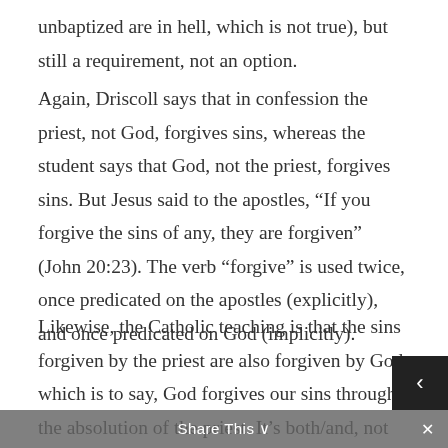unbaptized are in hell, which is not true), but still a requirement, not an option.
Again, Driscoll says that in confession the priest, not God, forgives sins, whereas the student says that God, not the priest, forgives sins. But Jesus said to the apostles, “If you forgive the sins of any, they are forgiven” (John 20:23). The verb “forgive” is used twice, once predicated on the apostles (explicitly), and once predicated on God (implicitly).
Likewise, the Catholic teaching is that the sins forgiven by the priest are also forgiven by God, which is to say, God forgives our sins through the absolution of the priest. It’s both/and, not either/or.
Share This